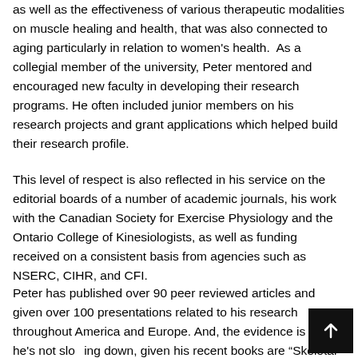as well as the effectiveness of various therapeutic modalities on muscle healing and health, that was also connected to aging particularly in relation to women's health.  As a collegial member of the university, Peter mentored and encouraged new faculty in developing their research programs. He often included junior members on his research projects and grant applications which helped build their research profile.
This level of respect is also reflected in his service on the editorial boards of a number of academic journals, his work with the Canadian Society for Exercise Physiology and the Ontario College of Kinesiologists, as well as funding received on a consistent basis from agencies such as NSERC, CIHR, and CFI.
Peter has published over 90 peer reviewed articles and given over 100 presentations related to his research throughout America and Europe. And, the evidence is in, he's not slowing down, given his recent books are “Skeletal Muscle Damage and